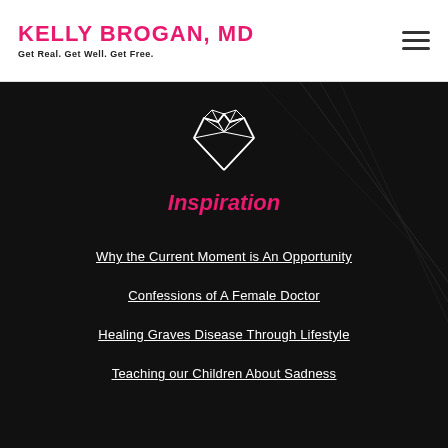KELLY BROGAN, MD — Get Real. Get Well. Get Free.
[Figure (illustration): Geometric faceted heart icon outline in white lines on dark background]
Inspiration
Why the Current Moment is An Opportunity
Confessions of A Female Doctor
Healing Graves Disease Through Lifestyle
Teaching our Children About Sadness